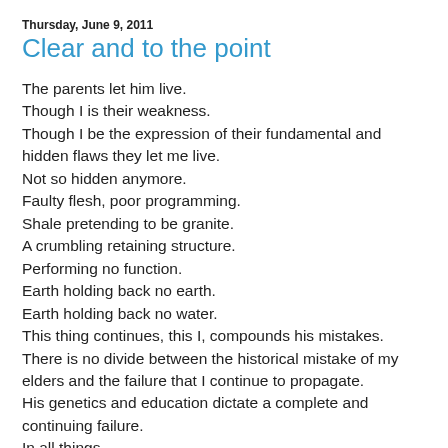Thursday, June 9, 2011
Clear and to the point
The parents let him live.
Though I is their weakness.
Though I be the expression of their fundamental and hidden flaws they let me live.
Not so hidden anymore.
Faulty flesh, poor programming.
Shale pretending to be granite.
A crumbling retaining structure.
Performing no function.
Earth holding back no earth.
Earth holding back no water.
This thing continues, this I, compounds his mistakes.
There is no divide between the historical mistake of my elders and the failure that I continue to propagate.
His genetics and education dictate a complete and continuing failure.
In all things.